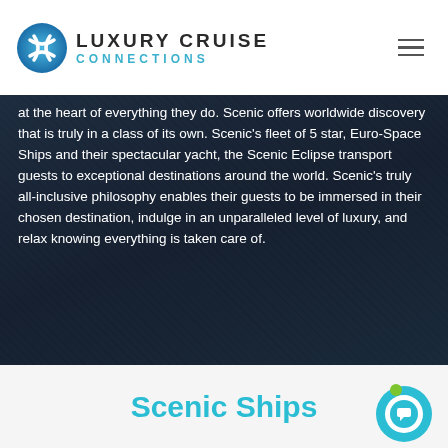LUXURY CRUISE CONNECTIONS
at the heart of everything they do. Scenic offers worldwide discovery that is truly in a class of its own. Scenic's fleet of 5 star, Euro-Space Ships and their spectacular yacht, the Scenic Eclipse transport guests to exceptional destinations around the world. Scenic's truly all-inclusive philosophy enables their guests to be immersed in their chosen destination, indulge in an unparalleled level of luxury, and relax knowing everything is taken care of.
Scenic Ships